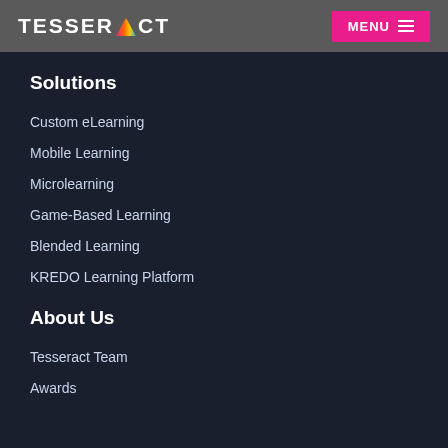TESSERACT | MENU
Solutions
Custom eLearning
Mobile Learning
Microlearning
Game-Based Learning
Blended Learning
KREDO Learning Platform
About Us
Tesseract Team
Awards